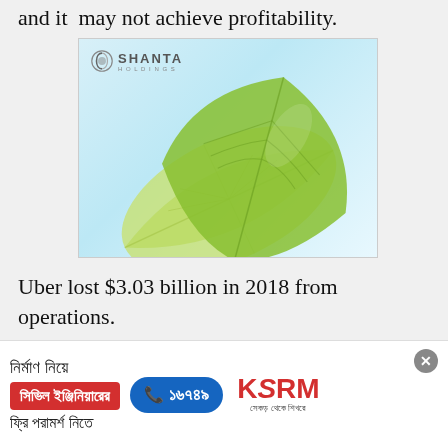and it may not achieve profitability.
[Figure (logo): Shanta Holdings advertisement with two green leaves on a light blue background, featuring the Shanta Holdings logo in the top left corner.]
Uber lost $3.03 billion in 2018 from operations.
[Figure (infographic): Advertisement banner in Bengali script for KSRM civil engineering consultation services, with phone number 16749 and KSRM logo. Includes a close (X) button.]